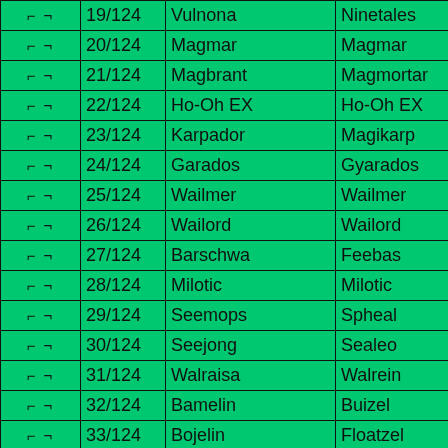| Check | Number | Name | Pokemon | Rarity |
| --- | --- | --- | --- | --- |
| ☐ ☐ | 19/124 | Vulnona | Ninetales | Ho... |
| ☐ ☐ | 20/124 | Magmar | Magmar | Co... |
| ☐ ☐ | 21/124 | Magbrant | Magmortar | Ra... |
| ☐ ☐ | 22/124 | Ho-Oh EX | Ho-Oh EX | Silv... |
| ☐ ☐ | 23/124 | Karpador | Magikarp | Co... |
| ☐ ☐ | 24/124 | Garados | Gyarados | Ra... |
| ☐ ☐ | 25/124 | Wailmer | Wailmer | Un... |
| ☐ ☐ | 26/124 | Wailord | Wailord | Ho... |
| ☐ ☐ | 27/124 | Barschwa | Feebas | Co... |
| ☐ ☐ | 28/124 | Milotic | Milotic | Ho... |
| ☐ ☐ | 29/124 | Seemops | Spheal | Co... |
| ☐ ☐ | 30/124 | Seejong | Sealeo | Un... |
| ☐ ☐ | 31/124 | Walraisa | Walrein | Ra... |
| ☐ ☐ | 32/124 | Bamelin | Buizel | Co... |
| ☐ ☐ | 33/124 | Bojelin | Floatzel | Un... |